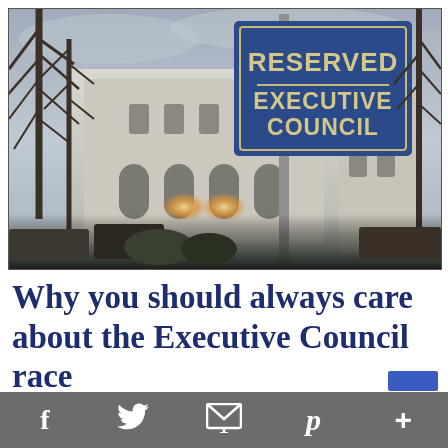[Figure (photo): Outdoor photo showing a blue 'Reserved Executive Council' parking sign on a pole in front of a large stone government building, with bare trees visible and street lamps in the background.]
Why you should always care about the Executive Council race
[Figure (other): Social media sharing toolbar with icons for Facebook, Twitter, email/envelope, Pinterest, and a plus/more button, on a grey background.]